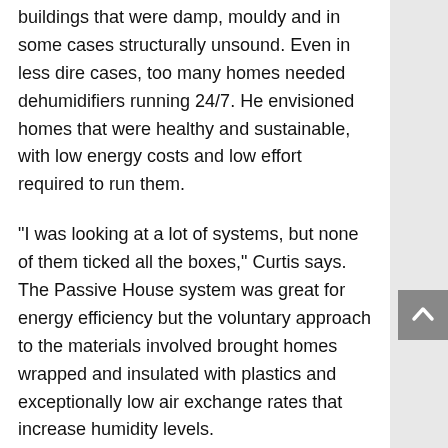buildings that were damp, mouldy and in some cases structurally unsound. Even in less dire cases, too many homes needed dehumidifiers running 24/7. He envisioned homes that were healthy and sustainable, with low energy costs and low effort required to run them.
“I was looking at a lot of systems, but none of them ticked all the boxes,” Curtis says. The Passive House system was great for energy efficiency but the voluntary approach to the materials involved brought homes wrapped and insulated with plastics and exceptionally low air exchange rates that increase humidity levels.
Then, about 17 years ago, he found his missing link. “I was introduced to Magnum Board,” Curtis says.
“That was the product that completed the material mix